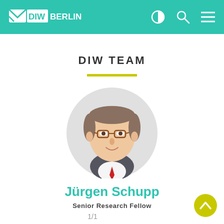DIW BERLIN
DIW TEAM
[Figure (photo): Circular profile photo of Jürgen Schupp, a middle-aged man with glasses, grey-brown hair, wearing a dark suit jacket with a red tie]
Jürgen Schupp
Senior Research Fellow
1/1